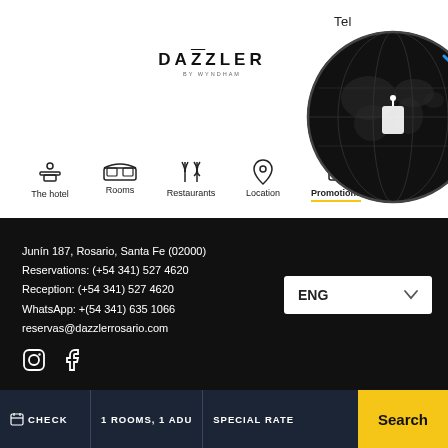Tel
[Figure (logo): Dazzler by Wyndham logo with brand name and subtitle]
[Figure (illustration): Black globe/world map circular overlay on top right]
The hotel | Rooms | Restaurants | Location | Promotions
Junín 187, Rosario, Santa Fe (02000)
Reservations: (+54 341) 527 4620
Reception: (+54 341) 527 4620
WhatsApp: +(54 341) 635 1066
reservas@dazzlerrosario.com
ENG
[Figure (logo): Social media icons: Instagram and Facebook in white on black background]
[Figure (illustration): Row of four certification/badge logos]
CHECK | 1 ROOMS, 1 ADU | SPECIAL RATE | Search